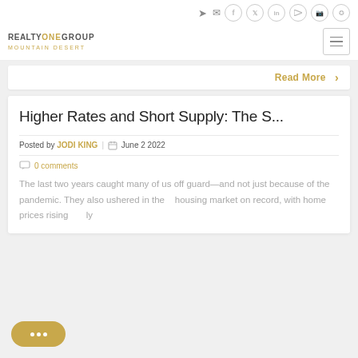REALTYONEGROUP MOUNTAIN DESERT
Read More >
Higher Rates and Short Supply: The S...
Posted by JODI KING  June 2 2022
0 comments
The last two years caught many of us off guard—and not just because of the pandemic. They also ushered in the housing market on record, with home prices rising rapidly